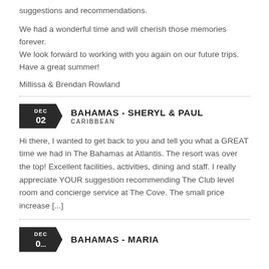suggestions and recommendations.
We had a wonderful time and will cherish those memories forever. We look forward to working with you again on our future trips. Have a great summer!
Millissa & Brendan Rowland
BAHAMAS - SHERYL & PAUL
CARIBBEAN
DEC 02
Hi there, I wanted to get back to you and tell you what a GREAT time we had in The Bahamas at Atlantis. The resort was over the top! Excellent facilities, activities, dining and staff. I really appreciate YOUR suggestion recommending The Club level room and concierge service at The Cove. The small price increase [...]
BAHAMAS - MARIA
DEC 0...